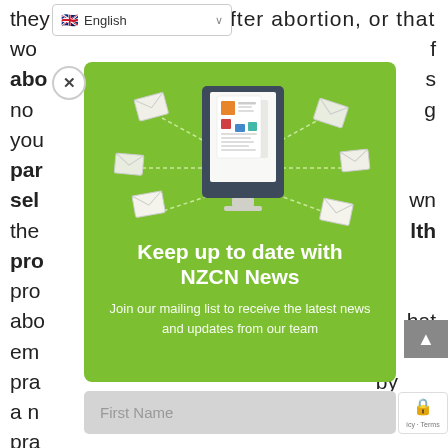they need before and after abortion, or that wo...f abo...s no...g you par sel...wn the...lth pro pro abo...hat em pra...by a n pra em
[Figure (screenshot): NZCN News newsletter signup modal popup with green background, monitor/newsletter illustration, title 'Keep up to date with NZCN News', subtitle 'Join our mailing list to receive the latest news and updates from our team', and a First Name input field below]
First Name